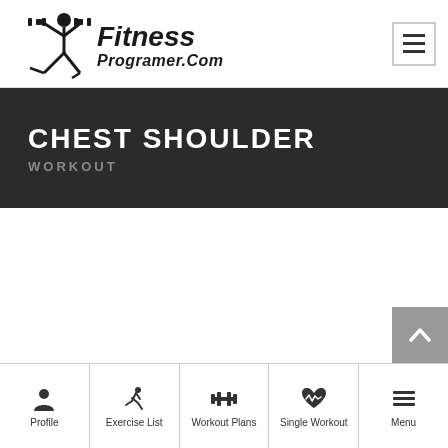Fitness Programer.Com
CHEST SHOULDER
WORKOUT
[Figure (other): Scroll to top button with upward chevron arrow on grey background]
Profile | Exercise List | Workout Plans | Single Workout | Menu